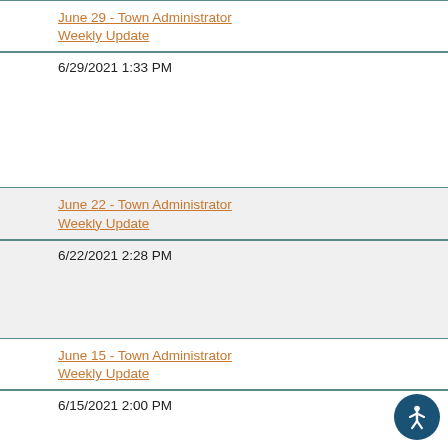June 29 - Town Administrator Weekly Update
6/29/2021 1:33 PM
June 22 - Town Administrator Weekly Update
6/22/2021 2:28 PM
June 15 - Town Administrator Weekly Update
6/15/2021 2:00 PM